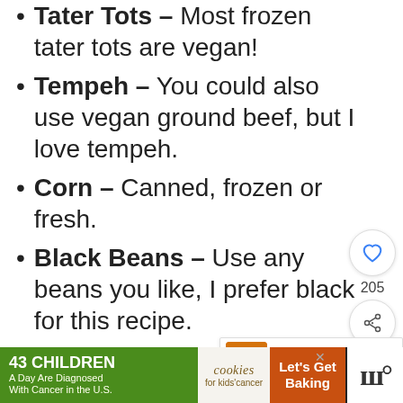Tater Tots – Most frozen tater tots are vegan!
Tempeh – You could also use vegan ground beef, but I love tempeh.
Corn – Canned, frozen or fresh.
Black Beans – Use any beans you like, I prefer black for this recipe.
Diced Tomatoes – You can substitute this for 10 oz. Enchilada sauce if you'd like.
[Figure (screenshot): Social media UI overlay with heart/like button showing 205 likes, and a share button]
[Figure (screenshot): What's Next promo banner showing 'Vegan Green Bean...' with food thumbnail]
[Figure (screenshot): Ad banner at bottom: '43 Children A Day Are Diagnosed With Cancer in the U.S.' cookies for kids cancer Let's Get Baking]